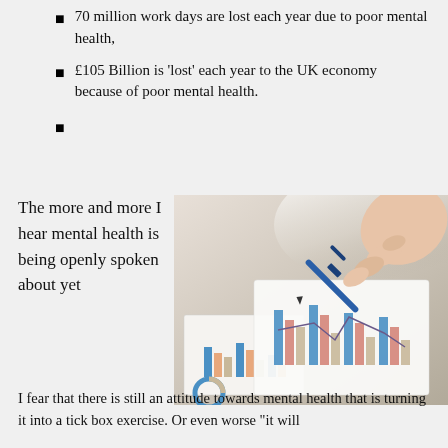70 million work days are lost each year due to poor mental health,
£105 Billion is 'lost' each year to the UK economy because of poor mental health.
The more and more I hear mental health is being openly spoken about yet
[Figure (photo): A hand holding a blue pen pointing at bar charts and line graphs on paper documents, viewed from above on a desk surface.]
I fear that there is still an attitude towards mental health that is turning it into a tick box exercise. Or even worse "it will